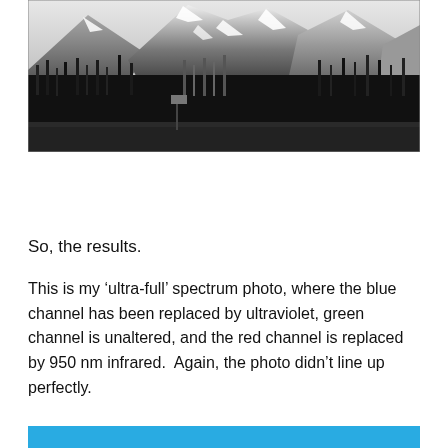[Figure (photo): Black and white landscape photograph showing snow-capped mountains in the background, with dense conifer forest in the middle ground and an open meadow in the foreground. A sign post is visible in the meadow.]
So, the results.
This is my ‘ultra-full’ spectrum photo, where the blue channel has been replaced by ultraviolet, green channel is unaltered, and the red channel is replaced by 950 nm infrared.  Again, the photo didn’t line up perfectly.